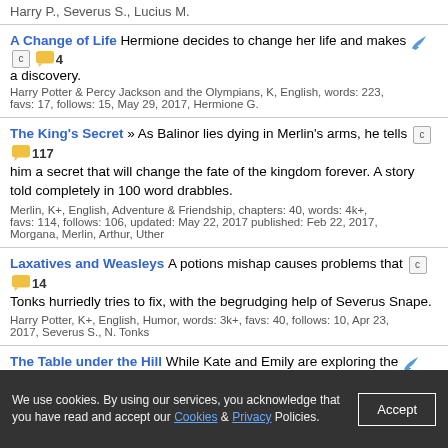Harry P., Severus S., Lucius M.
A Change of Life Hermione decides to change her life and makes a discovery. Harry Potter & Percy Jackson and the Olympians, K, English, words: 223, favs: 17, follows: 15, May 29, 2017, Hermione G.
The King's Secret » As Balinor lies dying in Merlin's arms, he tells him a secret that will change the fate of the kingdom forever. A story told completely in 100 word drabbles. Merlin, K+, English, Adventure & Friendship, chapters: 40, words: 4k+, favs: 114, follows: 106, updated: May 22, 2017 published: Feb 22, 2017, Morgana, Merlin, Arthur, Uther
Laxatives and Weasleys A potions mishap causes problems that Tonks hurriedly tries to fix, with the begrudging help of Severus Snape. Harry Potter, K+, English, Humor, words: 3k+, favs: 40, follows: 10, Apr 23, 2017, Severus S., N. Tonks
The Table under the Hill While Kate and Emily are exploring the goblin kingdom, they make an interesting discovery. Hollow Kingdom Trilogy & Squire's Tales, Gerald Morris, K, English, Family & Friendship, words: 2k+, favs: 3, Jan 16, 2017, Terence
The Lone Squire During the Lone Centurion's long watch over the Pandorica, he meets someone who understands. Doctor Who & Squire's Tales, Gerald Morris, K, English, Adventure &
We use cookies. By using our services, you acknowledge that you have read and accept our Cookies & Privacy Policies.